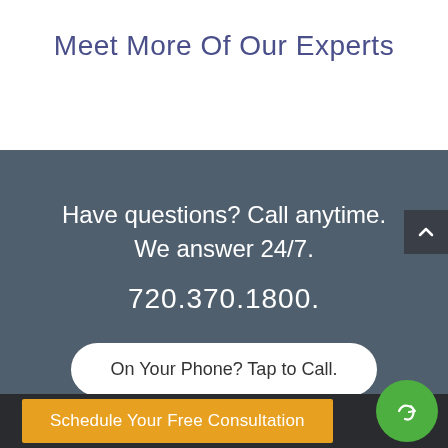Meet More Of Our Experts
Have questions? Call anytime. We answer 24/7.
720.370.1800.
On Your Phone? Tap to Call.
Schedule Your Free Consultation